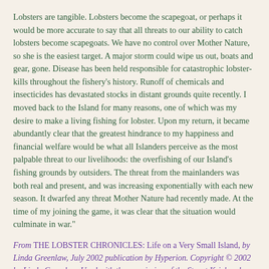Lobsters are tangible. Lobsters become the scapegoat, or perhaps it would be more accurate to say that all threats to our ability to catch lobsters become scapegoats. We have no control over Mother Nature, so she is the easiest target. A major storm could wipe us out, boats and gear, gone. Disease has been held responsible for catastrophic lobster-kills throughout the fishery's history. Runoff of chemicals and insecticides has devastated stocks in distant grounds quite recently. I moved back to the Island for many reasons, one of which was my desire to make a living fishing for lobster. Upon my return, it became abundantly clear that the greatest hindrance to my happiness and financial welfare would be what all Islanders perceive as the most palpable threat to our livelihoods: the overfishing of our Island's fishing grounds by outsiders. The threat from the mainlanders was both real and present, and was increasing exponentially with each new season. It dwarfed any threat Mother Nature had recently made. At the time of my joining the game, it was clear that the situation would culminate in war."
From THE LOBSTER CHRONICLES: Life on a Very Small Island, by Linda Greenlaw, July 2002 publication by Hyperion. Copyright © 2002 by Linda Greenlaw. Used with the permission of the Stuart Krichevsky Literary Agency, Inc.